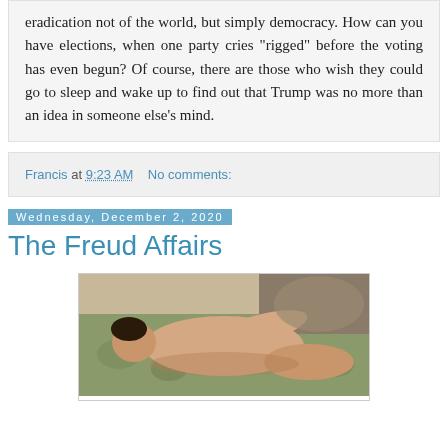eradication not of the world, but simply democracy. How can you have elections, when one party cries "rigged" before the voting has even begun? Of course, there are those who wish they could go to sleep and wake up to find out that Trump was no more than an idea in someone else's mind.
Francis at 9:23 AM    No comments:
Wednesday, December 2, 2020
The Freud Affairs
[Figure (photo): A reclining nude figure on an ornate floral sofa/couch, painted in a realistic style resembling a Lucian Freud painting.]